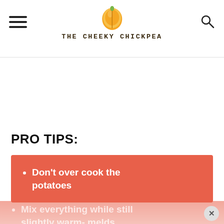THE CHEEKY CHICKPEA
PRO TIPS:
Don't over cook the potatoes
Mix everything while still slightly warm- melds